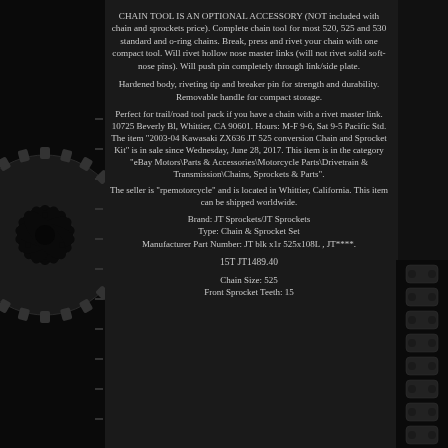[Figure (photo): Sprocket gear visible on the left side of the page, dark background]
CHAIN TOOL IS AN OPTIONAL ACCESSORY (NOT included with chain and sprockets price). Complete chain tool for most 520, 525 and 530 standard and o-ring chains. Break, press and rivet your chain with one compact tool. Will rivet hollow nose master links (will not rivet solid soft-nose pins). Will push pin completely through link/side plate.
Hardened body, riveting tip and breaker pin for strength and durability. Removable handle for compact storage.
Perfect for trail/road tool pack if you have a chain with a rivet master link. 10725 Beverly Bl, Whittier, CA 90601. Hours: M-F 9-6, Sat 9-5 Pacific Std. The item "2003-04 Kawasaki ZX636 JT 525 conversion Chain and Sprocket Kit" is in sale since Wednesday, June 28, 2017. This item is in the category "eBay Motors\Parts & Accessories\Motorcycle Parts\Drivetrain & Transmission\Chains, Sprockets & Parts".
The seller is "rpemotorcycle" and is located in Whittier, California. This item can be shipped worldwide.
Brand: JT Sprockets/JT Sprockets
Type: Chain & Sprocket Set
Manufacturer Part Number: JT blk x1r 525x108L , JT****.
15T JT1489.40
Chain Size: 525
Front Sprocket Teeth: 15